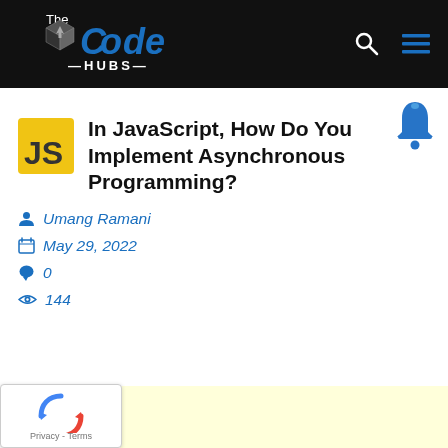The Code Hubs
In JavaScript, How Do You Implement Asynchronous Programming?
Umang Ramani
May 29, 2022
0
144